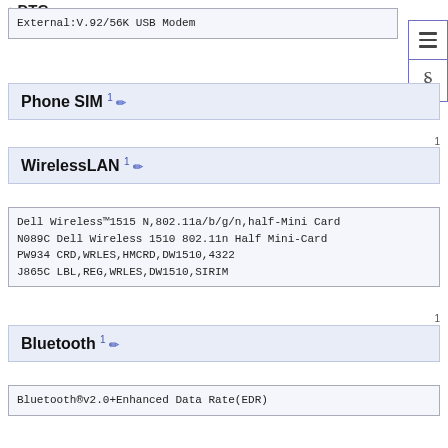• DTC
External:V.92/56K USB Modem
Phone SIM
1
WirelessLAN
Dell Wireless™1515 N,802.11a/b/g/n,half-Mini Card
N089C Dell Wireless 1510 802.11n Half Mini-Card
PW934 CRD,WRLES,HMCRD,DW1510,4322
J865C LBL,REG,WRLES,DW1510,SIRIM
1
Bluetooth
Bluetooth®v2.0+Enhanced Data Rate(EDR)